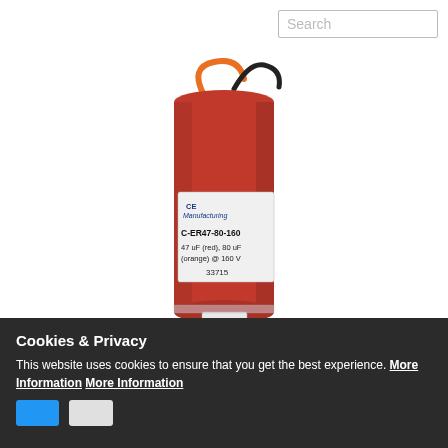Search
[Figure (photo): Red cylindrical capacitor with orange and black wires at top, white connector at bottom, label reads: CE Manufacturing, C-ER47-80-160, 47 uF (red), 80 uF (orange) @ 160 V, 33715]
Cookies & Privacy
This website uses cookies to ensure that you get the best experience. More Information More Information